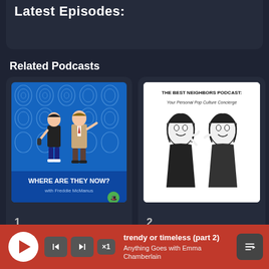Latest Episodes:
Related Podcasts
[Figure (illustration): Podcast cover art for 'Where Are They Now? with Freddie McManus' — two illustrated figures on a blue background with fingerprint patterns, text at bottom reads WHERE ARE THEY NOW? with Freddie McManus]
1
[Figure (illustration): Podcast cover art for 'The Best Neighbors Podcast: Your Personal Pop Culture Concierge' — black and white vintage illustration of two women whispering]
2
trendy or timeless (part 2)
Anything Goes with Emma Chamberlain